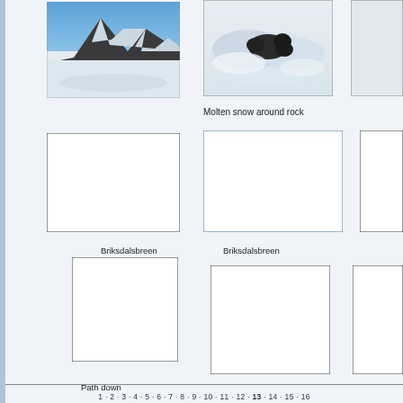[Figure (photo): Mountain with snow and blue sky - glacier landscape]
[Figure (photo): Animal (possibly marmot or seal) in molten/melting snow around a rock]
[Figure (photo): Partial photo clipped at right edge]
Molten snow around rock
[Figure (illustration): Empty white box with border - placeholder image]
[Figure (illustration): Empty white box with border - placeholder image]
[Figure (illustration): Empty white box with border clipped at right edge - placeholder]
Briksdalsbreen
Briksdalsbreen
[Figure (illustration): Empty white box with border - placeholder image]
[Figure (illustration): Empty white box with border - placeholder image]
[Figure (illustration): Empty white box with border clipped at right edge - placeholder]
Path down
1 · 2 · 3 · 4 · 5 · 6 · 7 · 8 · 9 · 10 · 11 · 12 · 13 · 14 · 15 · 16